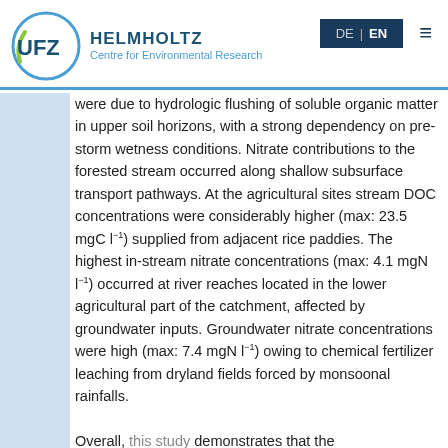UFZ Helmholtz Centre for Environmental Research | DE | EN
were due to hydrologic flushing of soluble organic matter in upper soil horizons, with a strong dependency on pre-storm wetness conditions. Nitrate contributions to the forested stream occurred along shallow subsurface transport pathways. At the agricultural sites stream DOC concentrations were considerably higher (max: 23.5 mgC l⁻¹) supplied from adjacent rice paddies. The highest in-stream nitrate concentrations (max: 4.1 mgN l⁻¹) occurred at river reaches located in the lower agricultural part of the catchment, affected by groundwater inputs. Groundwater nitrate concentrations were high (max: 7.4 mgN l⁻¹) owing to chemical fertilizer leaching from dryland fields forced by monsoonal rainfalls.
Overall, this study demonstrates that the